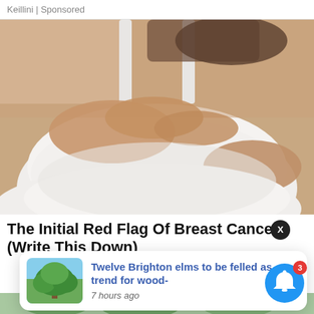Keillini | Sponsored
[Figure (photo): Close-up photo of a woman in a white tank top touching her chest/breast area with both hands, medical health awareness context]
The Initial Red Flag Of Breast Cancer (Write This Down)
[Figure (screenshot): Push notification popup showing a large tree image with text 'Twelve Brighton elms to be felled as trend for wood-' and timestamp '7 hours ago']
[Figure (other): Blue circular bell notification button with red badge showing number 3]